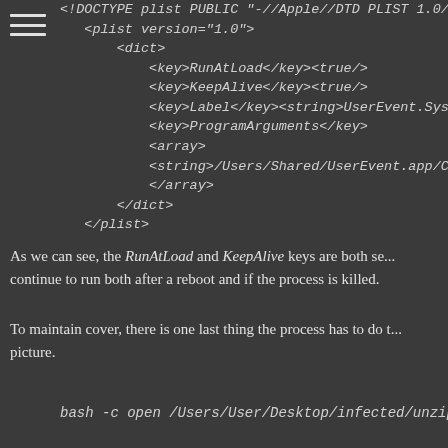[Figure (screenshot): Hamburger menu icon (three horizontal lines) in the top-left corner]
<!DOCTYPE plist PUBLIC "-//Apple//DTD PLIST 1.0//EN" "https://..."
    <plist version="1.0">
        <dict>
            <key>RunAtLoad</key><true/>
            <key>KeepAlive</key><true/>
            <key>Label</key><string>UserEvent.System</string>
            <key>ProgramArguments</key>
            <array>
             <string>/Users/Shared/UserEvent.app/Contents/MacOS/...
            </array>
        </dict>
    </plist>
As we can see, the RunAtLoad and KeepAlive keys are both set to continue to run both after a reboot and if the process is killed.
To maintain cover, there is one last thing the process has to do to complete the picture.
bash -c open /Users/User/Desktop/infected/unzipped/DSC00117.app/C...
This command opens the image file. Now the victim can look at their photos while the attacker leverages their system to conduct shady business.